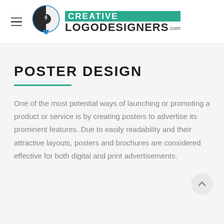[Figure (logo): Creative Logo Designers .com website header with hamburger menu icon on the left and logo consisting of a circular pin/cursor icon and text CREATIVE LOGODESIGNERS.com]
POSTER DESIGN
One of the most potential ways of launching or promoting a product or service is by creating posters to advertise its prominent features. Due to easily readability and their attractive layouts, posters and brochures are considered effective for both digital and print advertisements.